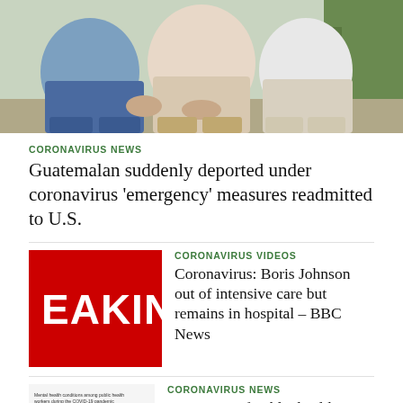[Figure (photo): Photo of people sitting outdoors, partially cropped, showing torsos and legs. Background has green plants. People appear to be sitting on a ledge or ground.]
CORONAVIRUS NEWS
Guatemalan suddenly deported under coronavirus ‘emergency’ measures readmitted to U.S.
[Figure (screenshot): Red breaking news thumbnail with white text reading 'EAKING' (BREAKING cropped)]
CORONAVIRUS VIDEOS
Coronavirus: Boris Johnson out of intensive care but remains in hospital – BBC News
[Figure (bar-chart): Small bar chart thumbnail showing blue bars of varying heights with a small headline above it about mental health among public health workers during COVID-19.]
CORONAVIRUS NEWS
A THIRD of public health workers have symptoms of depression and PTSD amid the COVID-19 pandemic
[Figure (photo): Small photo collage of people, appears to show a couple or family.]
CORONAVIRUS NEWS
High school sweethearts, both 67, die from COVID-19 just three hours apart